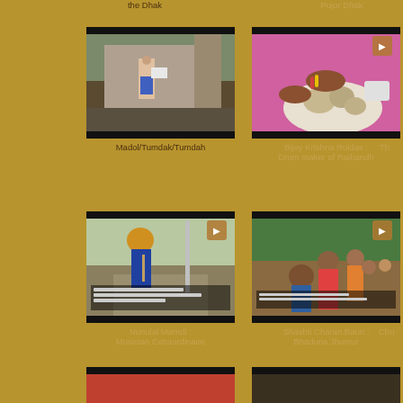the Dhak
Pujor Dhak
[Figure (photo): Person standing in front of a building, holding something white]
Madol/Tumdak/Tumdah
[Figure (photo): Hands working with food on a plate, close-up]
Bijoy Krishna Ruidas : Drum maker of Raibandh
[Figure (photo): Partially visible image, dark]
Th...
[Figure (photo): Man with yellow turban playing a wind instrument on a street]
Nunulal Marndi : Musician Extraordinaire
[Figure (photo): Group of people, including women and children, looking at something]
Shashti Charan Bauri : Bhaduria Jhumur
[Figure (photo): Partially visible image on right edge]
Chu...
[Figure (photo): Partial thumbnail, bottom row left]
[Figure (photo): Partial thumbnail, bottom row center]
[Figure (photo): Partial thumbnail, bottom row right]